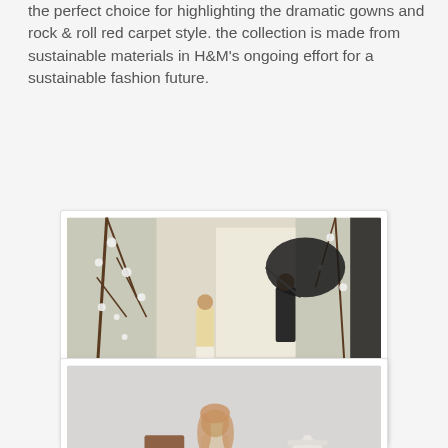the perfect choice for highlighting the dramatic gowns and rock & roll red carpet style. the collection is made from sustainable materials in H&M's ongoing effort for a sustainable fashion future.
[Figure (photo): Behind-the-scenes fashion photo shoot in a white floral studio setting. A model in a light dress sits posing while a photographer holds a large black umbrella reflector.]
[Figure (photo): Fashion photo showing a model in a pale blue/grey tulle gown standing next to a wooden chair, with a white dress form mannequin on a stand to her right, against a plain light grey background.]